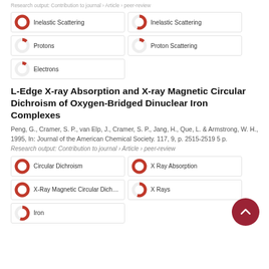Research output: Contribution to journal › Article › peer-review
[Figure (infographic): Keyword badges with donut chart indicators: Inelastic Scattering (~100%), Inelastic Scattering (~55%), Protons (~12%), Proton Scattering (~12%), Electrons (~10%)]
L-Edge X-ray Absorption and X-ray Magnetic Circular Dichroism of Oxygen-Bridged Dinuclear Iron Complexes
Peng, G., Cramer, S. P., van Elp, J., Cramer, S. P., Jang, H., Que, L. & Armstrong, W. H., 1995, In: Journal of the American Chemical Society. 117, 9, p. 2515-2519 5 p.
Research output: Contribution to journal › Article › peer-review
[Figure (infographic): Keyword badges with donut chart indicators: Circular Dichroism (~100%), X Ray Absorption (~100%), X-Ray Magnetic Circular Dichro... (~100%), X Rays (~55%), Iron (~55%)]